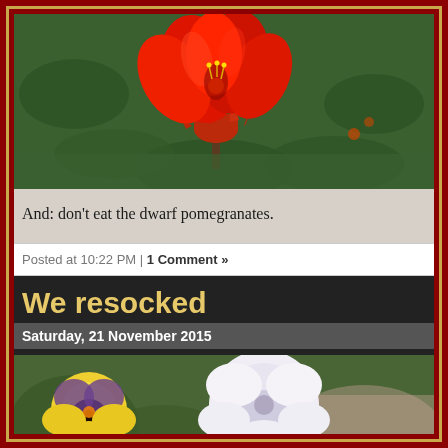[Figure (photo): Close-up photo of a red pomegranate flower hanging downward against green foliage background]
And: don’t eat the dwarf pomegranates.
Posted at 10:22 PM | 1 Comment »
We resocked
Saturday, 21 November 2015
[Figure (photo): Close-up photo of pansy flowers including yellow and white pansies]